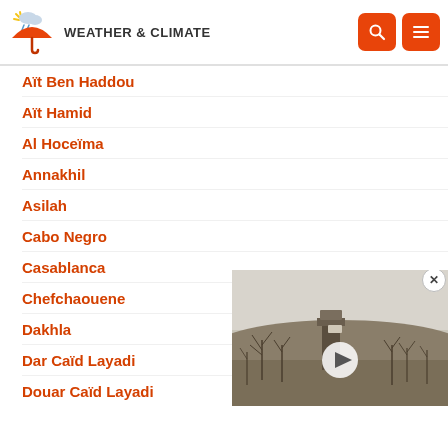WEATHER & CLIMATE
Aït Ben Haddou
Aït Hamid
Al Hoceïma
Annakhil
Asilah
Cabo Negro
Casablanca
Chefchaouene
Dakhla
Dar Caïd Layadi
Douar Caïd Layadi
[Figure (photo): Video thumbnail showing a weather station structure in a barren landscape with bare trees and hills in the background. A white play button is overlaid on the center.]